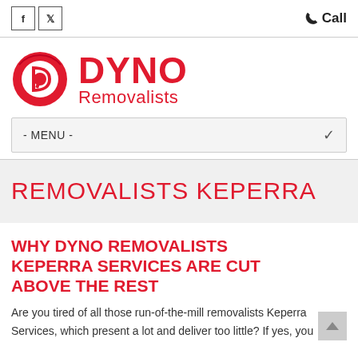f  [Twitter]  Call
[Figure (logo): Dyno Removalists logo — red circular DR icon with DYNO in large bold red text and Removalists below in red]
- MENU -
REMOVALISTS KEPERRA
WHY DYNO REMOVALISTS KEPERRA SERVICES ARE CUT ABOVE THE REST
Are you tired of all those run-of-the-mill removalists Keperra Services, which present a lot and deliver too little? If yes, you